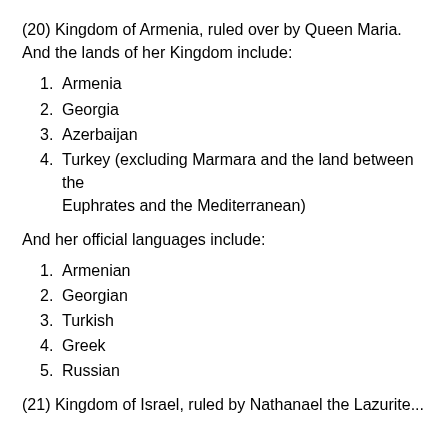(20) Kingdom of Armenia, ruled over by Queen Maria. And the lands of her Kingdom include:
1. Armenia
2. Georgia
3. Azerbaijan
4. Turkey (excluding Marmara and the land between the Euphrates and the Mediterranean)
And her official languages include:
1. Armenian
2. Georgian
3. Turkish
4. Greek
5. Russian
(21) Kingdom of Israel, ruled by Nathanael the Lazurite...